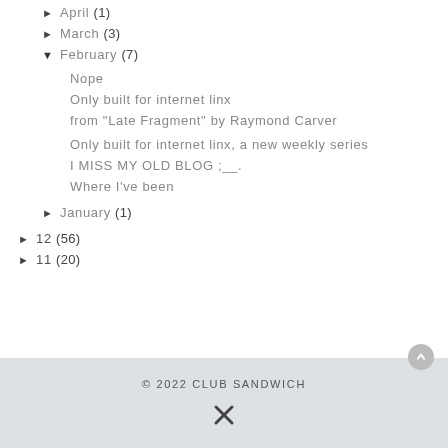▶  April (1)
▶  March (3)
▼  February (7)
Nope
Only built for internet linx
from "Late Fragment" by Raymond Carver
Only built for internet linx, a new weekly series
I MISS MY OLD BLOG ;__.
Where I've been
▶  January (1)
▶  12 (56)
▶  11 (20)
© 2022 CLUB SANDWICH